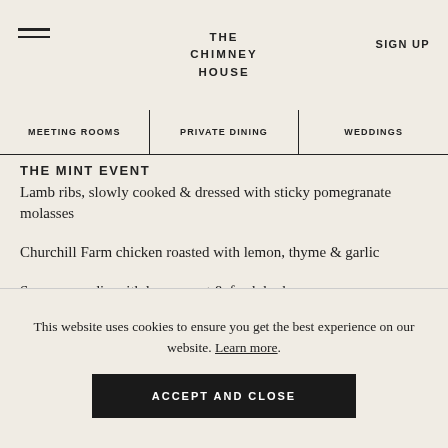THE CHIMNEY HOUSE
MEETING ROOMS | PRIVATE DINING | WEDDINGS
THE MINT EVENT
Lamb ribs, slowly cooked & dressed with sticky pomegranate molasses
Churchill Farm chicken roasted with lemon, thyme & garlic
Sour cream dip with lemon zest & fresh herbs
For our vegetarian & vegan guests: spiced chargrilled cauliflower, sour cream dip with lemon zest & fresh herbs (v, g)
This website uses cookies to ensure you get the best experience on our website. Learn more.
ACCEPT AND CLOSE